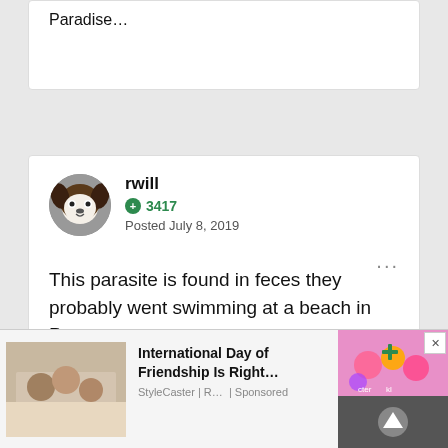Paradise…
rwill
⊕ 3417
Posted July 8, 2019
This parasite is found in feces they probably went swimming at a beach in Pattaya.
International Day of Friendship Is Right…
StyleCaster | R… | Sponsored